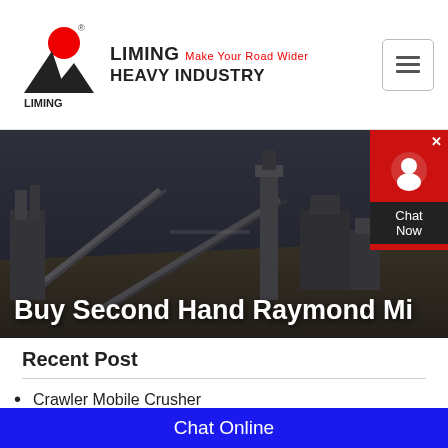[Figure (logo): Liming Heavy Industry logo with red circle, black triangular shapes, and brand name]
[Figure (photo): Industrial mining/crushing plant machinery at a quarry site with conveyor belts and large equipment against a dark sky]
Buy Second Hand Raymond Mi...
Recent Post
Crawler Mobile Crusher
MTW-Z European Trapezium-Mill
K Series Mobile Crushing Plant
Chat Online